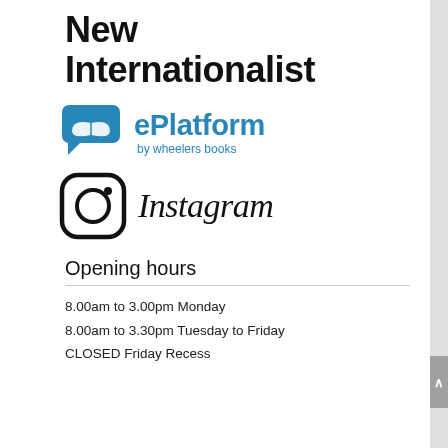New Internationalist
[Figure (logo): ePlatform by wheelers books logo — blue speech bubble icon with open book, teal text 'ePlatform' and subtitle 'by wheelers books']
[Figure (logo): Instagram logo — rounded square outline with circle and dot inside, followed by 'Instagram' in cursive font]
Opening hours
8.00am to 3.00pm Monday
8.00am to 3.30pm Tuesday to Friday
CLOSED Friday Recess